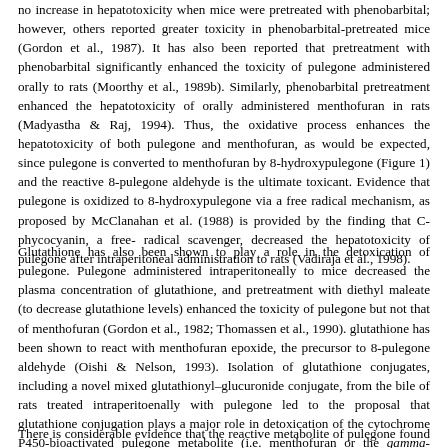no increase in hepatotoxicity when mice were pretreated with phenobarbital; however, others reported greater toxicity in phenobarbital-pretreated mice (Gordon et al., 1987). It has also been reported that pretreatment with phenobarbital significantly enhanced the toxicity of pulegone administered orally to rats (Moorthy et al., 1989b). Similarly, phenobarbital pretreatment enhanced the hepatotoxicity of orally administered menthofuran in rats (Madyastha & Raj, 1994). Thus, the oxidative process enhances the hepatotoxicity of both pulegone and menthofuran, as would be expected, since pulegone is converted to menthofuran by 8-hydroxypulegone (Figure 1) and the reactive 8-pulegone aldehyde is the ultimate toxicant. Evidence that pulegone is oxidized to 8-hydroxypulegone via a free radical mechanism, as proposed by McClanahan et al. (1988) is provided by the finding that C-phycocyanin, a free-radical scavenger, decreased the hepatotoxicity of pulegone after intraperitoneal administration to rats (Vadiraja et al., 1998).
Glutathione has also been shown to play a role in the detoxication of pulegone. Pulegone administered intraperitoneally to mice decreased the plasma concentration of glutathione, and pretreatment with diethyl maleate (to decrease glutathione levels) enhanced the toxicity of pulegone but not that of menthofuran (Gordon et al., 1982; Thomassen et al., 1990). glutathione has been shown to react with menthofuran epoxide, the precursor to 8-pulegone aldehyde (Oishi & Nelson, 1993). Isolation of glutathione conjugates, including a novel mixed glutathionyl–glucuronide conjugate, from the bile of rats treated intraperitoenally with pulegone led to the proposal that glutathione conjugation plays a major role in detoxication of the cytochrome P450-bioactivated pulegone metabolite (i.e. menthofuran or the gamma-ketoenal) (Thomassen et al., 1991).
There is considerable evidence that the reactive metabolite of pulegone found in